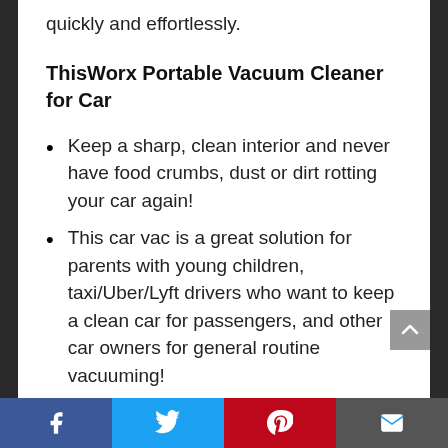quickly and effortlessly.
ThisWorx Portable Vacuum Cleaner for Car
Keep a sharp, clean interior and never have food crumbs, dust or dirt rotting your car again!
This car vac is a great solution for parents with young children, taxi/Uber/Lyft drivers who want to keep a clean car for passengers, and other car owners for general routine vacuuming!
Works effectively for both wet and dry dirt
Social share bar: Facebook, Twitter, Pinterest, Email